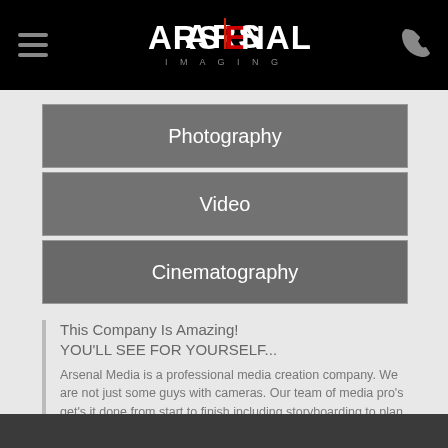ARSENAL IMAGING
Photography
Video
Cinematography
This Company Is Amazing!
YOU'LL SEE FOR YOURSELF...

Arsenal Media is a professional media creation company. We are not just some guys with cameras. Our team of media pro's get's it done from start to finish including storyboarding to plan your shoot!